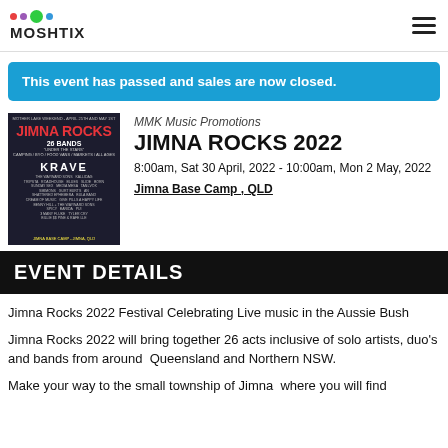MOSHTIX
This event has passed and sales are now closed.
[Figure (illustration): Jimna Rocks 2022 festival promotional poster with red text on dark background listing 26 bands]
MMK Music Promotions
JIMNA ROCKS 2022
8:00am, Sat 30 April, 2022 - 10:00am, Mon 2 May, 2022
Jimna Base Camp , QLD
EVENT DETAILS
Jimna Rocks 2022 Festival Celebrating Live music in the Aussie Bush
Jimna Rocks 2022 will bring together 26 acts inclusive of solo artists, duo's and bands from around  Queensland and Northern NSW.
Make your way to the small township of Jimna  where you will find